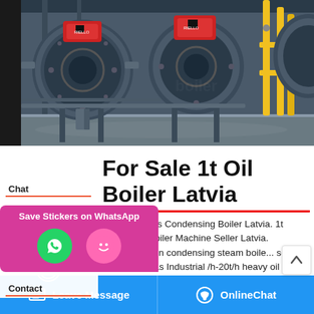[Figure (photo): Industrial boiler room with large cylindrical oil/gas boilers, red burner units, yellow gas pipes on gray industrial floor]
For Sale 1t Oil Boiler Latvia
S... 4 Ton Gas Condensing Boiler Latvia. 1t Coal Fired Boiler Machine Seller Latvia. industrial 4 ton condensing steam boiler seller. Oil Steam Gas Industrial /h-20t/h heavy oil steam generator | Industrial Gas 01 ton chain grate solid fuel steam for sale for Sri Lanka 05 ton moving grate wood steam types for ...rum
[Figure (screenshot): WhatsApp Save Stickers popup with green WhatsApp phone icon and pink emoji icon on magenta/pink gradient background]
Leave Message    OnlineChat